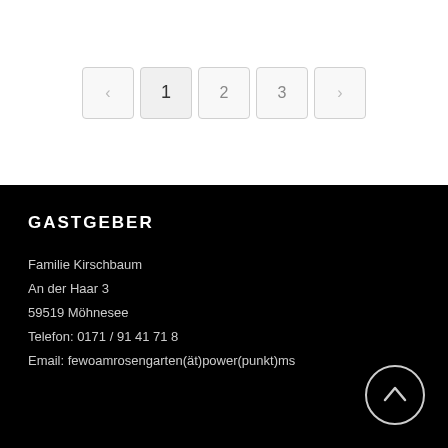[Figure (other): Pagination controls with previous arrow, page numbers 1, 2, 3, and next arrow. Page 1 is active/highlighted.]
GASTGEBER
Familie Kirschbaum
An der Haar 3
59519 Möhnesee
Telefon: 0171 / 91 41 71 8
Email: fewoamrosengarten(ät)power(punkt)ms